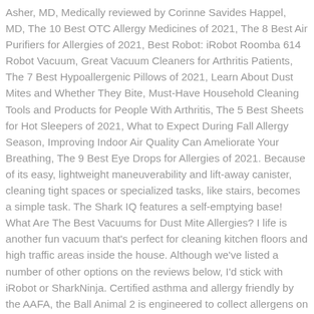Asher, MD, Medically reviewed by Corinne Savides Happel, MD, The 10 Best OTC Allergy Medicines of 2021, The 8 Best Air Purifiers for Allergies of 2021, Best Robot: iRobot Roomba 614 Robot Vacuum, Great Vacuum Cleaners for Arthritis Patients, The 7 Best Hypoallergenic Pillows of 2021, Learn About Dust Mites and Whether They Bite, Must-Have Household Cleaning Tools and Products for People With Arthritis, The 5 Best Sheets for Hot Sleepers of 2021, What to Expect During Fall Allergy Season, Improving Indoor Air Quality Can Ameliorate Your Breathing, The 9 Best Eye Drops for Allergies of 2021. Because of its easy, lightweight maneuverability and lift-away canister, cleaning tight spaces or specialized tasks, like stairs, becomes a simple task. The Shark IQ features a self-emptying base! What Are The Best Vacuums for Dust Mite Allergies? I life is another fun vacuum that's perfect for cleaning kitchen floors and high traffic areas inside the house. Although we've listed a number of other options on the reviews below, I'd stick with iRobot or SharkNinja. Certified asthma and allergy friendly by the AAFA, the Ball Animal 2 is engineered to collect allergens on multiple surface types. The best upright vacs with anti-allergy filtration is Dyson. Their benefit comes because they work autonomously without much effort from the owner. Like our best-rated robot vacuums for allergies, the